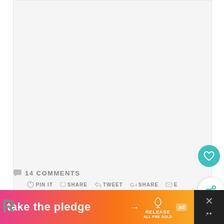[Figure (photo): Large image placeholder area, light gray background]
14 COMMENTS
PIN IT  SHARE  TWEET  G+ SHARE  E
[Figure (infographic): WHAT'S NEXT → DIY Modern Soap Dish thumbnail with image]
[Figure (infographic): take the pledge → RELEASE ad banner]
[Figure (other): Close button with X on dark background]